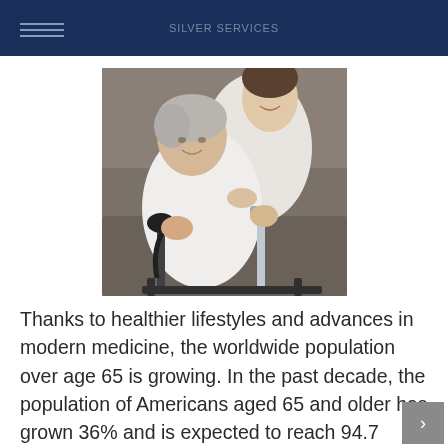SILVER SERVICES
[Figure (photo): An elderly Asian woman in a white robe using a walker, being assisted by a younger caregiver in a white shirt. The woman is leaning forward gripping the walker handles while the caregiver stands behind her offering support.]
Thanks to healthier lifestyles and advances in modern medicine, the worldwide population over age 65 is growing. In the past decade, the population of Americans aged 65 and older has grown 36% and is expected to reach 94.7 million in 2060. As our nation ages, many